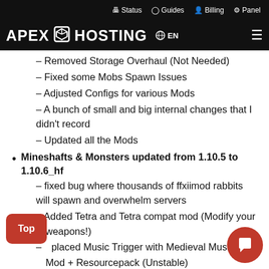Status  Guides  Billing  Panel
APEX HOSTING  EN
– Removed Storage Overhaul (Not Needed)
– Fixed some Mobs Spawn Issues
– Adjusted Configs for various Mods
– A bunch of small and big internal changes that I didn't record
– Updated all the Mods
Mineshafts & Monsters updated from 1.10.5 to 1.10.6_hf
– fixed bug where thousands of ffxiimod rabbits will spawn and overwhelm servers
– Added Tetra and Tetra compat mod (Modify your weapons!)
– Replaced Music Trigger with Medieval Music Mod + Resourcepack (Unstable)